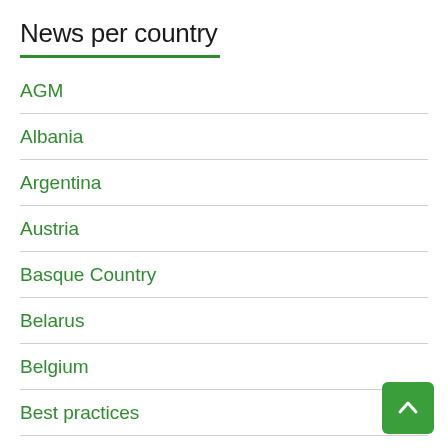News per country
AGM
Albania
Argentina
Austria
Basque Country
Belarus
Belgium
Best practices
Board
Bologna
Bookfair